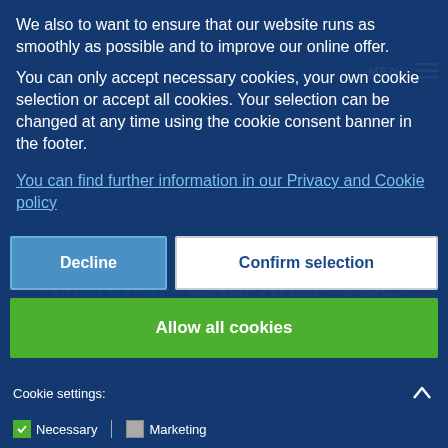We also to want to ensure that our website runs as smoothly as possible and to improve our online offer.
You can only accept necessary cookies, your own cookie selection or accept all cookies. Your selection can be changed at any time using the cookie consent banner in the footer.
You can find further information in our Privacy and Cookie policy
Decline
Confirm selection
Allow all cookies
Cookie settings:
Necessary
Marketing